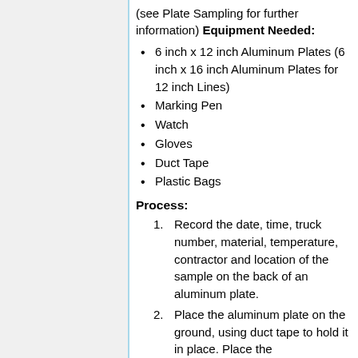(see Plate Sampling for further information) Equipment Needed:
6 inch x 12 inch Aluminum Plates (6 inch x 16 inch Aluminum Plates for 12 inch Lines)
Marking Pen
Watch
Gloves
Duct Tape
Plastic Bags
Process:
Record the date, time, truck number, material, temperature, contractor and location of the sample on the back of an aluminum plate.
Place the aluminum plate on the ground, using duct tape to hold it in place. Place the